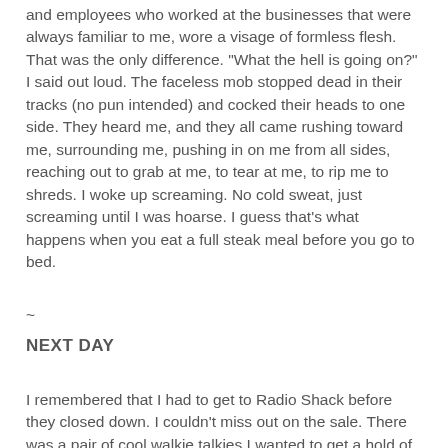and employees who worked at the businesses that were always familiar to me, wore a visage of formless flesh. That was the only difference. "What the hell is going on?" I said out loud. The faceless mob stopped dead in their tracks (no pun intended) and cocked their heads to one side. They heard me, and they all came rushing toward me, surrounding me, pushing in on me from all sides, reaching out to grab at me, to tear at me, to rip me to shreds. I woke up screaming. No cold sweat, just screaming until I was hoarse. I guess that's what happens when you eat a full steak meal before you go to bed.
~
NEXT DAY
I remembered that I had to get to Radio Shack before they closed down. I couldn't miss out on the sale. There was a pair of cool walkie talkies I wanted to get a hold of, the ones